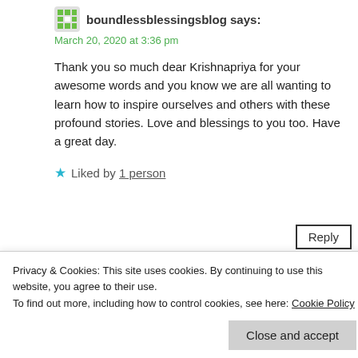boundlessblessingsblog says:
March 20, 2020 at 3:36 pm
Thank you so much dear Krishnapriya for your awesome words and you know we are all wanting to learn how to inspire ourselves and others with these profound stories. Love and blessings to you too. Have a great day.
★ Liked by 1 person
Reply
Privacy & Cookies: This site uses cookies. By continuing to use this website, you agree to their use.
To find out more, including how to control cookies, see here: Cookie Policy
Close and accept